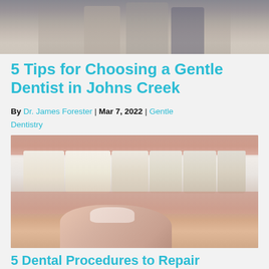[Figure (photo): Group photo of people standing together, partially cropped at top of page]
5 Tips for Choosing a Gentle Dentist in Johns Creek
By Dr. James Forester | Mar 7, 2022 | Gentle Dentistry
[Figure (photo): Close-up photo of a person smiling showing white teeth, with a finger pointing at the teeth]
5 Dental Procedures to Repair